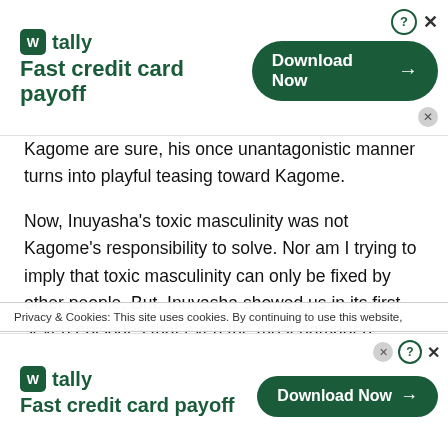[Figure (screenshot): Tally app advertisement banner - Fast credit card payoff with Download Now button]
Kagome are sure, his once unantagonistic manner turns into playful teasing toward Kagome.
Now, Inuyasha's toxic masculinity was not Kagome's responsibility to solve. Nor am I trying to imply that toxic masculinity can only be fixed by other people. But, Inuyasha showed us in its first seven episodes that even the most damaged, angry individuals can change if they find the proper motivation. The rest of Inuyasha deals with Inuyasha's
Privacy & Cookies: This site uses cookies. By continuing to use this website,
[Figure (screenshot): Tally app advertisement banner bottom - Fast credit card payoff with Download Now button]